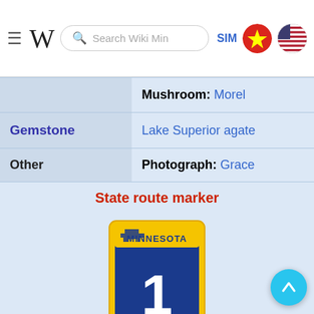Wikipedia navigation bar with search, SIM, Vietnamese flag, US flag
| Mushroom: | Morel |
| Gemstone | Lake Superior agate |
| Other | Photograph: Grace |
| State route marker |  |
| [Minnesota route marker image] |  |
| State quarter |  |
| [Minnesota state quarter coin image] |  |
[Figure (illustration): Minnesota State Route Marker sign: yellow border, blue background, state outline shape at top with 'MINNESOTA' text, large number '1' in center]
[Figure (photo): Minnesota state quarter coin showing Minnesota 1858, lake scene with loon and trees]